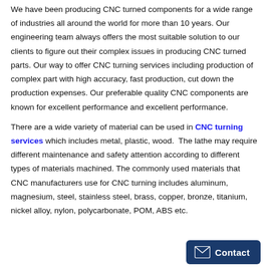We have been producing CNC turned components for a wide range of industries all around the world for more than 10 years. Our engineering team always offers the most suitable solution to our clients to figure out their complex issues in producing CNC turned parts. Our way to offer CNC turning services including production of complex part with high accuracy, fast production, cut down the production expenses. Our preferable quality CNC components are known for excellent performance and excellent performance.
There are a wide variety of material can be used in CNC turning services which includes metal, plastic, wood. The lathe may require different maintenance and safety attention according to different types of materials machined. The commonly used materials that CNC manufacturers use for CNC turning includes aluminum, magnesium, steel, stainless steel, brass, copper, bronze, titanium, nickel alloy, nylon, polycarbonate, POM, ABS etc.